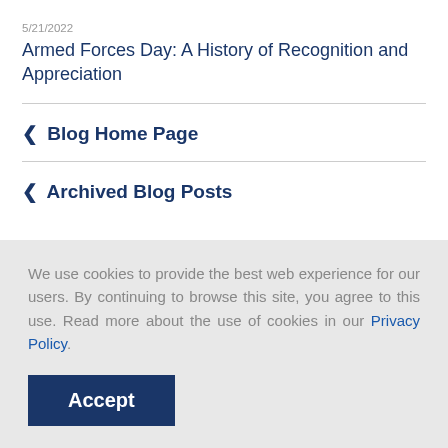5/21/2022
Armed Forces Day: A History of Recognition and Appreciation
‹ Blog Home Page
‹ Archived Blog Posts
We use cookies to provide the best web experience for our users. By continuing to browse this site, you agree to this use. Read more about the use of cookies in our Privacy Policy.
Accept